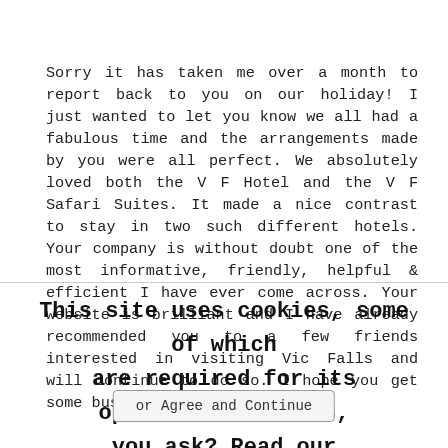Sorry it has taken me over a month to report back to you on our holiday! I just wanted to let you know we all had a fabulous time and the arrangements made by you were all perfect. We absolutely loved both the V F Hotel and the V F Safari Suites. It made a nice contrast to stay in two such different hotels. Your company is without doubt one of the most informative, friendly, helpful & efficient I have ever come across. Your website is brilliant and I have already recommended you to a few friends interested in visiting Vic Falls and will continue to do so. I hope you get some business from it
This site uses cookies, some of which are required for its operation. Cookies, you ask? Read our Privacy policy. or Agree and Continue